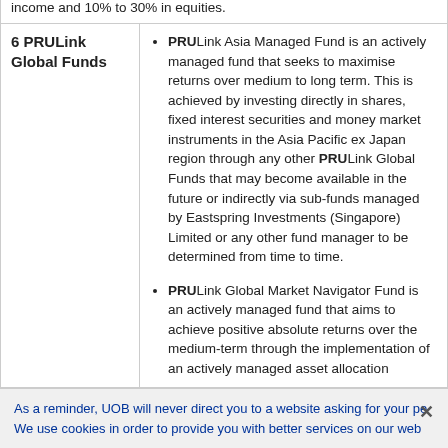|  |  |
| --- | --- |
|  | income and 10% to 30% in equities. |
| 6 PRULink Global Funds | PRULink Asia Managed Fund is an actively managed fund that seeks to maximise returns over medium to long term. This is achieved by investing directly in shares, fixed interest securities and money market instruments in the Asia Pacific ex Japan region through any other PRULink Global Funds that may become available in the future or indirectly via sub-funds managed by Eastspring Investments (Singapore) Limited or any other fund manager to be determined from time to time.

PRULink Global Market Navigator Fund is an actively managed fund that aims to achieve positive absolute returns over the medium-term through the implementation of an actively managed asset allocation... |
As a reminder, UOB will never direct you to a website asking for your pe... We use cookies in order to provide you with better services on our web...